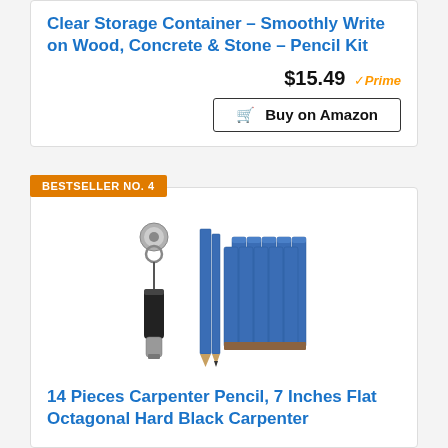Clear Storage Container – Smoothly Write on Wood, Concrete & Stone – Pencil Kit
$15.49 ✓Prime
🛒 Buy on Amazon
BESTSELLER NO. 4
[Figure (photo): 14 Pieces Carpenter Pencil set: a retractable pencil holder/clip tool (black), two flat blue pencils, and a bundle of octagonal blue carpenter pencils with brown erasers]
14 Pieces Carpenter Pencil, 7 Inches Flat Octagonal Hard Black Carpenter